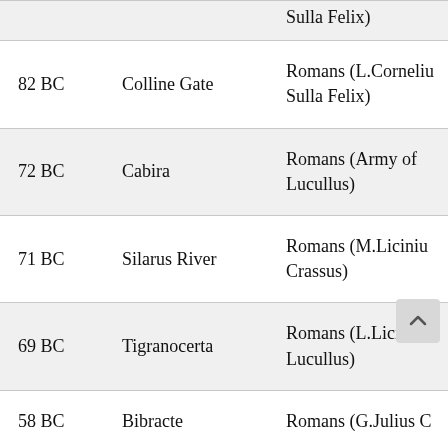| Year | Battle | Winner |
| --- | --- | --- |
|  |  | Sulla Felix) |
| 82 BC | Colline Gate | Romans (L.Cornelius Sulla Felix) |
| 72 BC | Cabira | Romans (Army of Lucullus) |
| 71 BC | Silarus River | Romans (M.Licinius Crassus) |
| 69 BC | Tigranocerta | Romans (L.Licinius Lucullus) |
| 58 BC | Bibracte | Romans (G.Julius C…) |
| 58 BC | Plain of Alsace | Romans (G.Ju… C…) |